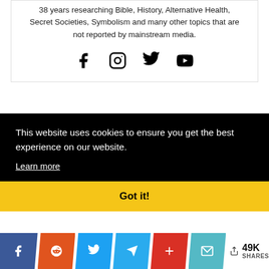38 years researching Bible, History, Alternative Health, Secret Societies, Symbolism and many other topics that are not reported by mainstream media.
[Figure (illustration): Social media icons: Facebook, Instagram, Twitter, YouTube]
This website uses cookies to ensure you get the best experience on our website. Learn more
Got it!
49K SHARES — share buttons: Facebook, Reddit, Twitter, Telegram, Plus, Email